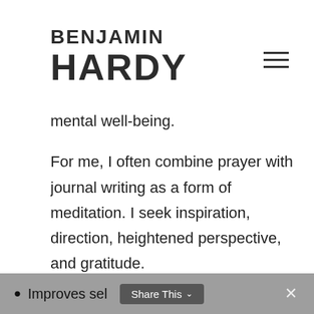BENJAMIN HARDY
mental well-being.
For me, I often combine prayer with journal writing as a form of meditation. I seek inspiration, direction, heightened perspective, and gratitude.
Scientifically supported benefits of prayer include:
Improves sel…